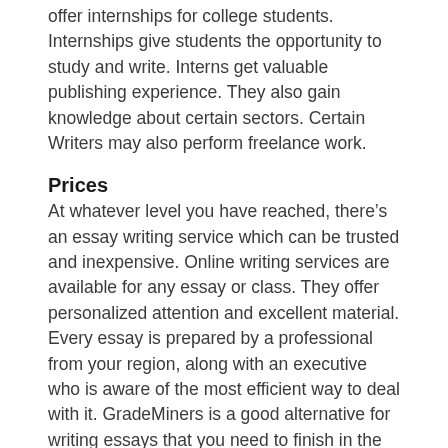offer internships for college students. Internships give students the opportunity to study and write. Interns get valuable publishing experience. They also gain knowledge about certain sectors. Certain Writers may also perform freelance work.
Prices
At whatever level you have reached, there’s an essay writing service which can be trusted and inexpensive. Online writing services are available for any essay or class. They offer personalized attention and excellent material. Every essay is prepared by a professional from your region, along with an executive who is aware of the most efficient way to deal with it. GradeMiners is a good alternative for writing essays that you need to finish in the nick of time need. They offer 24/7 customer service and there is no sign-up needed. Costs for essay help begin with $9.99 per page. This means that you are able to pay higher if needed.